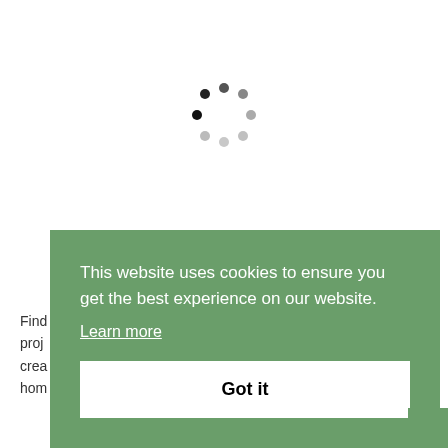[Figure (other): Loading spinner — circular arrangement of dots fading from black to light gray]
Find
proj
crea
hom
This website uses cookies to ensure you get the best experience on our website.
Learn more
Got it